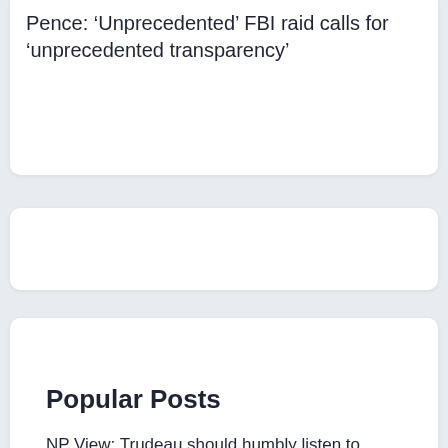Pence: ‘Unprecedented’ FBI raid calls for ‘unprecedented transparency’
[Figure (other): Empty white card placeholder]
Popular Posts
NP View: Trudeau should humbly listen to Alberta voters on equalization
1.3k views